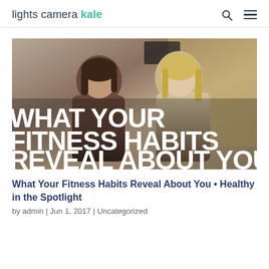lights camera kale
[Figure (photo): Two women sitting together in a room; overlaid large bold white text reading 'WHAT YOUR FITNESS HABITS REVEAL ABOUT YOU']
What Your Fitness Habits Reveal About You • Healthy in the Spotlight
by admin | Jun 1, 2017 | Uncategorized